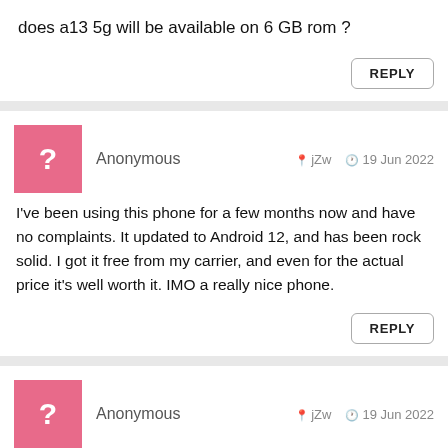does a13 5g will be available on 6 GB rom ?
REPLY
Anonymous  jZw  19 Jun 2022
I've been using this phone for a few months now and have no complaints. It updated to Android 12, and has been rock solid. I got it free from my carrier, and even for the actual price it's well worth it. IMO a really nice phone.
REPLY
Anonymous  jZw  19 Jun 2022
dew dew water hole, 28 May 2022